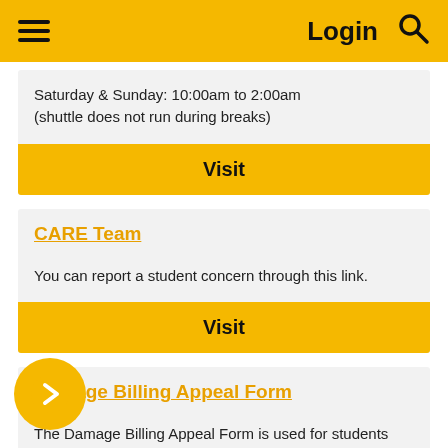Login
Saturday & Sunday: 10:00am to 2:00am (shuttle does not run during breaks)
Visit
CARE Team
You can report a student concern through this link.
Visit
Damage Billing Appeal Form
The Damage Billing Appeal Form is used for students who received damage billing charges after they moved out and their housing assignment was inspected by a Residence Life professional staff member. Damage billing will be released via AIC Email: